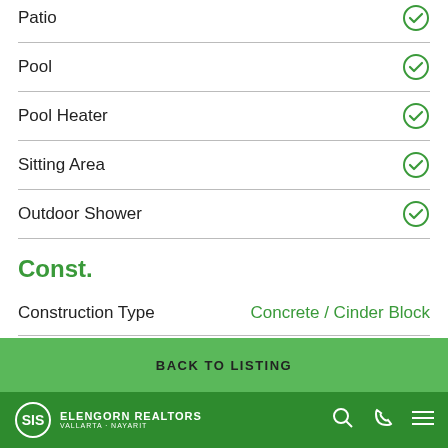Patio ✓
Pool ✓
Pool Heater ✓
Sitting Area ✓
Outdoor Shower ✓
Const.
|  |  |
| --- | --- |
| Construction Type | Concrete / Cinder Block |
| Flooring Types | Ceramic Tile |
BACK TO LISTING
ELENGORN REALTORS VALLARTA · NAYARIT